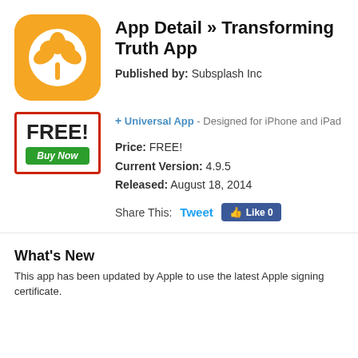[Figure (logo): Orange rounded square app icon with white flower/plant silhouette]
App Detail » Transforming Truth App
Published by: Subsplash Inc
[Figure (other): FREE! price box with red border and green Buy Now button]
+ Universal App - Designed for iPhone and iPad
Price: FREE!
Current Version: 4.9.5
Released: August 18, 2014
Share This: Tweet Like 0
What's New
This app has been updated by Apple to use the latest Apple signing certificate.